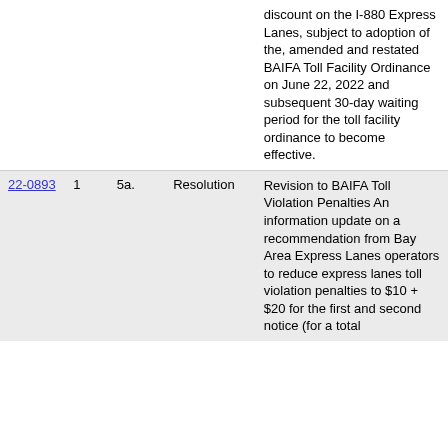| ID | # | Item | Type | Description |
| --- | --- | --- | --- | --- |
|  |  |  |  | ...discount on the I-880 Express Lanes, subject to adoption of the, amended and restated BAIFA Toll Facility Ordinance on June 22, 2022 and subsequent 30-day waiting period for the toll facility ordinance to become effective. |
| 22-0893 | 1 | 5a. | Resolution | Revision to BAIFA Toll Violation Penalties An information update on a recommendation from Bay Area Express Lanes operators to reduce express lanes toll violation penalties to $10 + $20 for the first and second notice (for a total ... |